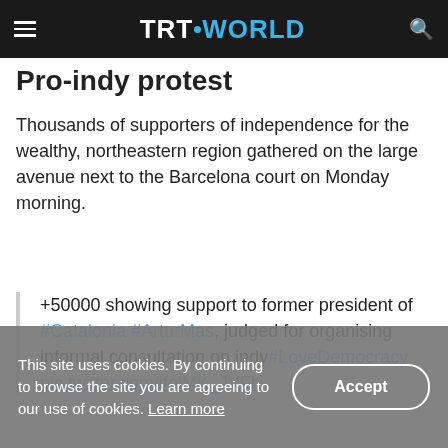TRT WORLD
Pro-indy protest
Thousands of supporters of independence for the wealthy, northeastern region gathered on the large avenue next to the Barcelona court on Monday morning.
+50000 showing support to former president of #Catalonia #ArturMas, judged for organising informal consultation on indy#LoveDemocracy pic.twitter.com/ifolMK_JVFh
This site uses cookies. By continuing to browse the site you are agreeing to our use of cookies. Learn more